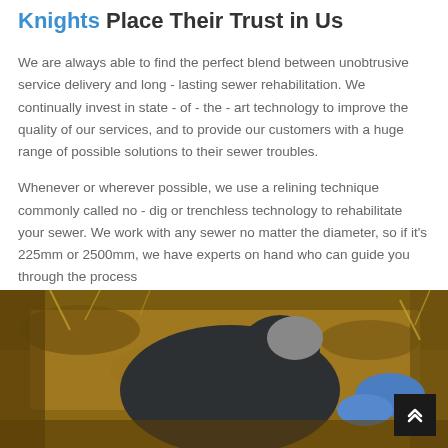Knights Place Their Trust in Us
We are always able to find the perfect blend between unobtrusive service delivery and long - lasting sewer rehabilitation. We continually invest in state - of - the - art technology to improve the quality of our services, and to provide our customers with a huge range of possible solutions to their sewer troubles.
Whenever or wherever possible, we use a relining technique commonly called no - dig or trenchless technology to rehabilitate your sewer. We work with any sewer no matter the diameter, so if it's 225mm or 2500mm, we have experts on hand who can guide you through the process
[Figure (photo): A worker wearing a dark hoodie and blue gloves crouching down in a dirt excavation trench, working on a sewer rehabilitation task.]